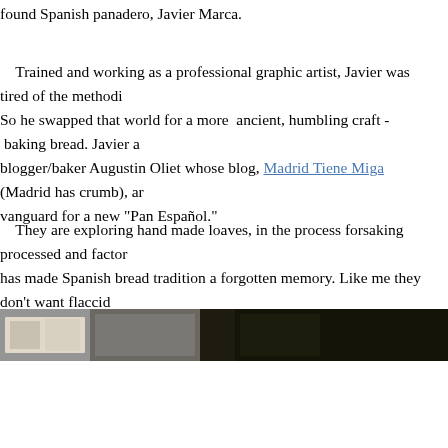found Spanish panadero, Javier Marca.
Trained and working as a professional graphic artist, Javier was tired of the methodi... So he swapped that world for a more ancient, humbling craft - baking bread. Javier a... blogger/baker Augustin Oliet whose blog, Madrid Tiene Miga (Madrid has crumb), ar... vanguard for a new "Pan Español."
They are exploring hand made loaves, in the process forsaking processed and factor... has made Spanish bread tradition a forgotten memory. Like me they don't want flaccid... white bread! They want to redefine a dying craft and bring it back to life!
[Figure (photo): Partial photo strip showing bread/bakery scenes, split into two panels with a dark divider, against a dark olive/brown background]